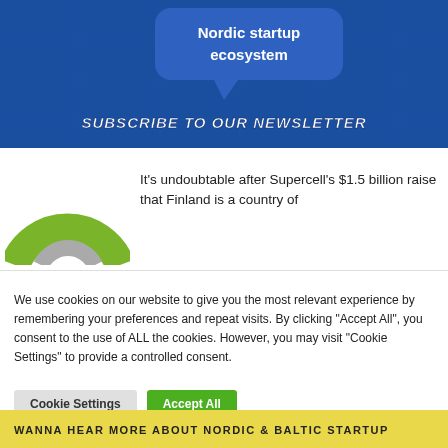[Figure (illustration): Blue banner with speech bubble showing 'Nordic startup ecosystem' text and 'SUBSCRIBE TO OUR NEWSLETTER' below]
[Figure (logo): Green and grey circular arc/target logo, partially visible at bottom]
It’s undoubtable after Supercell’s $1.5 billion raise that Finland is a country of
We use cookies on our website to give you the most relevant experience by remembering your preferences and repeat visits. By clicking “Accept All”, you consent to the use of ALL the cookies. However, you may visit “Cookie Settings” to provide a controlled consent.
WANNA HEAR MORE ABOUT NORDIC & BALTIC STARTUP